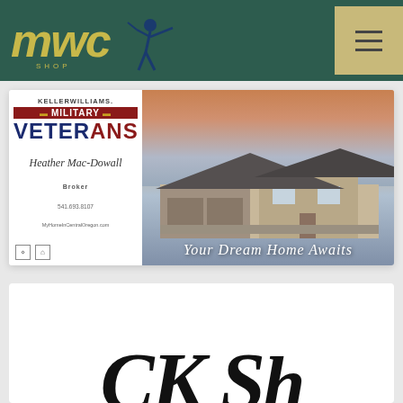[Figure (logo): MWC logo with golf swing silhouette in gold/yellow on dark teal header background]
[Figure (screenshot): Keller Williams Military Veterans real estate advertisement. Left white panel shows: KELLER WILLIAMS. MILITARY VETERANS branding, Heather Mac-Dowall Broker, 541.693.8107, MyHomeInCentralOregon.com, and two small icons. Right panel shows a craftsman-style house photo with text 'Your Dream Home Awaits']
[Figure (logo): Partial logo/text at bottom of page, large dark letters 'CK S' partially visible]